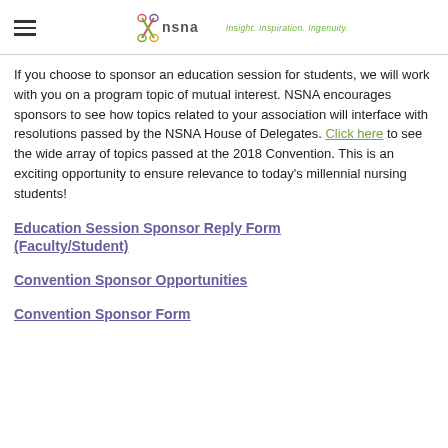NSNA — Insight. Inspiration. Ingenuity.
If you choose to sponsor an education session for students, we will work with you on a program topic of mutual interest. NSNA encourages sponsors to see how topics related to your association will interface with resolutions passed by the NSNA House of Delegates. Click here to see the wide array of topics passed at the 2018 Convention. This is an exciting opportunity to ensure relevance to today's millennial nursing students!
Education Session Sponsor Reply Form (Faculty/Student)
Convention Sponsor Opportunities
Convention Sponsor Form